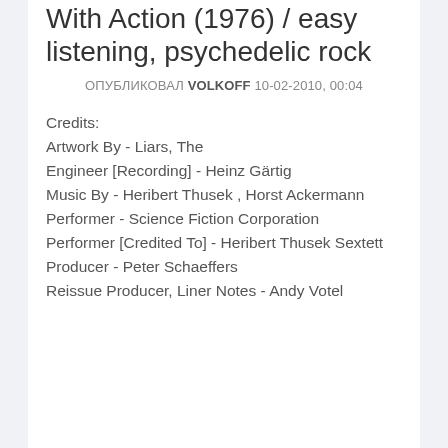With Action (1976) / easy listening, psychedelic rock
ОПУБЛИКОВАЛ VOLKOFF 10-02-2010, 00:04
Credits:
Artwork By - Liars, The
Engineer [Recording] - Heinz Gärtig
Music By - Heribert Thusek , Horst Ackermann
Performer - Science Fiction Corporation
Performer [Credited To] - Heribert Thusek Sextett
Producer - Peter Schaeffers
Reissue Producer, Liner Notes - Andy Votel